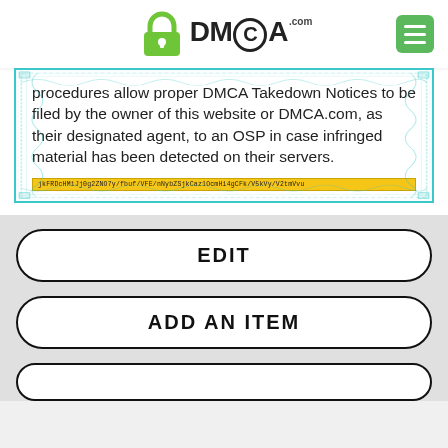[Figure (logo): DMCA.com logo with padlock icon and menu button]
procedures allow proper DMCA Takedown Notices to be filed by the owner of this website or DMCA.com, as their designated agent, to an OSP in case infringed material has been detected on their servers.
[hash string / certificate ID]
EDIT
ADD AN ITEM